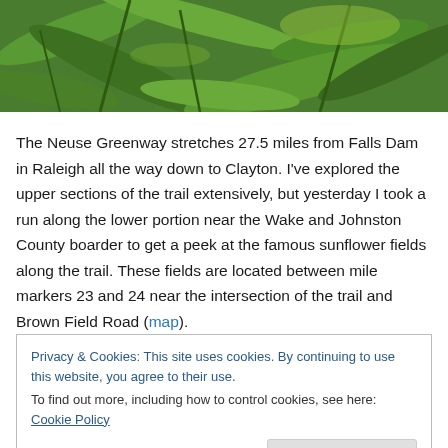[Figure (photo): Close-up photo of green corn/plant leaves and stalks with sunlight, lush green foliage]
The Neuse Greenway stretches 27.5 miles from Falls Dam in Raleigh all the way down to Clayton. I've explored the upper sections of the trail extensively, but yesterday I took a run along the lower portion near the Wake and Johnston County boarder to get a peek at the famous sunflower fields along the trail. These fields are located between mile markers 23 and 24 near the intersection of the trail and Brown Field Road (map).
Privacy & Cookies: This site uses cookies. By continuing to use this website, you agree to their use.
To find out more, including how to control cookies, see here: Cookie Policy